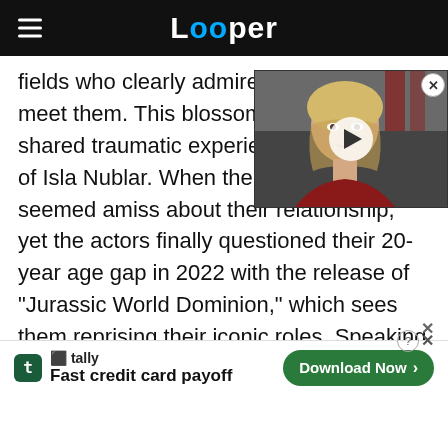Looper
fields who clearly admire one another when they meet them. This blossoms even further through their shared traumatic experiences together on the island of Isla Nublar. When the film... seemed amiss about their relationship, yet the actors finally questioned their 20-year age gap in 2022 with the release of "Jurassic World Dominion," which sees them reprising their iconic roles. Speaking to The Sunday Times about why Spielberg cast them in the original film, it suddenly dawned...
[Figure (screenshot): Video thumbnail overlay showing a blonde woman (Game of Thrones character), with a play button in the center and a close (X) button in the top right corner.]
[Figure (infographic): Tally advertisement banner at the bottom: 'Fast credit card payoff' with a Download Now button and close/question mark icons.]